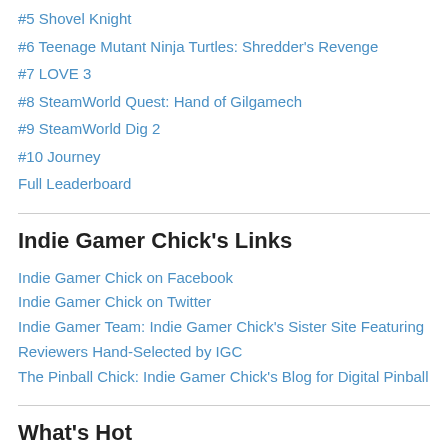#5 Shovel Knight
#6 Teenage Mutant Ninja Turtles: Shredder's Revenge
#7 LOVE 3
#8 SteamWorld Quest: Hand of Gilgamech
#9 SteamWorld Dig 2
#10 Journey
Full Leaderboard
Indie Gamer Chick's Links
Indie Gamer Chick on Facebook
Indie Gamer Chick on Twitter
Indie Gamer Team: Indie Gamer Chick's Sister Site Featuring Reviewers Hand-Selected by IGC
The Pinball Chick: Indie Gamer Chick's Blog for Digital Pinball
What's Hot